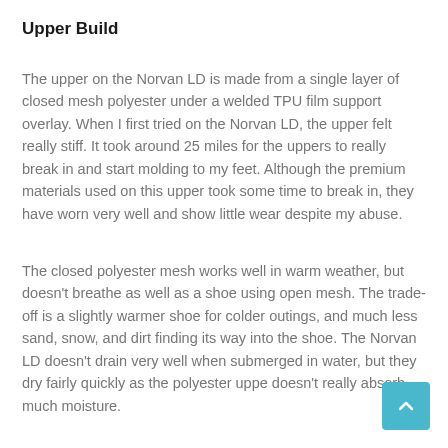Upper Build
The upper on the Norvan LD is made from a single layer of closed mesh polyester under a welded TPU film support overlay. When I first tried on the Norvan LD, the upper felt really stiff. It took around 25 miles for the uppers to really break in and start molding to my feet. Although the premium materials used on this upper took some time to break in, they have worn very well and show little wear despite my abuse.
The closed polyester mesh works well in warm weather, but doesn't breathe as well as a shoe using open mesh. The trade-off is a slightly warmer shoe for colder outings, and much less sand, snow, and dirt finding its way into the shoe. The Norvan LD doesn't drain very well when submerged in water, but they dry fairly quickly as the polyester uppe doesn't really absorb much moisture.